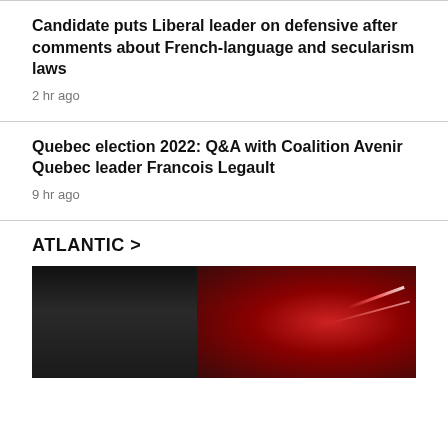Candidate puts Liberal leader on defensive after comments about French-language and secularism laws
2 hr ago
Quebec election 2022: Q&A with Coalition Avenir Quebec leader Francois Legault
9 hr ago
ATLANTIC >
[Figure (photo): Photo of a bald man against a dark background with red lighting on the right side]